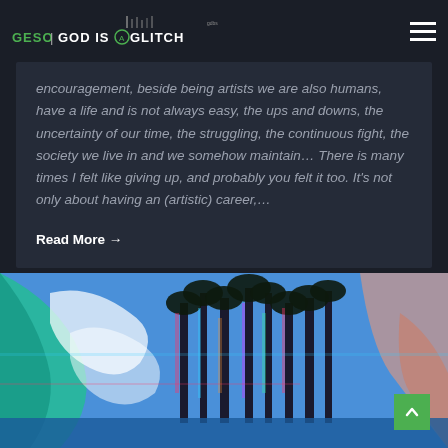GESO | GOD IS A GLITCH
encouragement, beside being artists we are also humans, have a life and is not always easy, the ups and downs, the uncertainty of our time, the struggling, the continuous fight, the society we live in and we somehow maintain... There is many times I felt like giving up, and probably you felt it too. It's not only about having an (artistic) career,...
Read More →
[Figure (photo): Glitch art image of palm trees with colorful chromatic aberration effects against a blue sky, with teal/green tones on the left and peach/orange on the right]